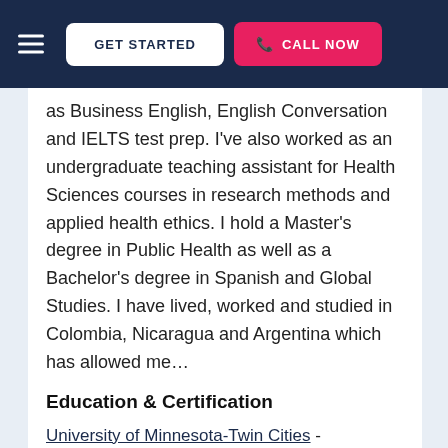GET STARTED  CALL NOW
as Business English, English Conversation and IELTS test prep. I've also worked as an undergraduate teaching assistant for Health Sciences courses in research methods and applied health ethics. I hold a Master's degree in Public Health as well as a Bachelor's degree in Spanish and Global Studies. I have lived, worked and studied in Colombia, Nicaragua and Argentina which has allowed me…
Education & Certification
University of Minnesota-Twin Cities - Bachelors, Spanish and Global Studies
Simon Fraser University - Masters, Public Health